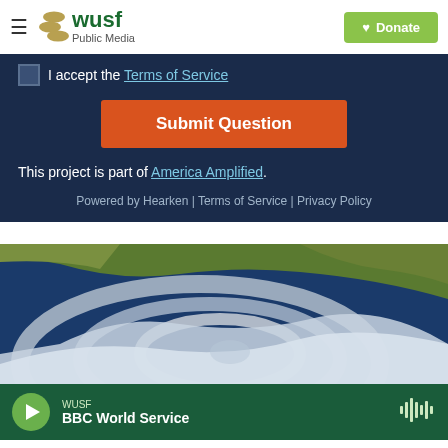[Figure (logo): WUSF Public Media logo with hamburger menu and Donate button]
I accept the Terms of Service
Submit Question
This project is part of America Amplified.
Powered by Hearken | Terms of Service | Privacy Policy
[Figure (photo): Satellite aerial view of a hurricane approaching land, showing spiral cloud bands]
WUSF BBC World Service (audio player bar)